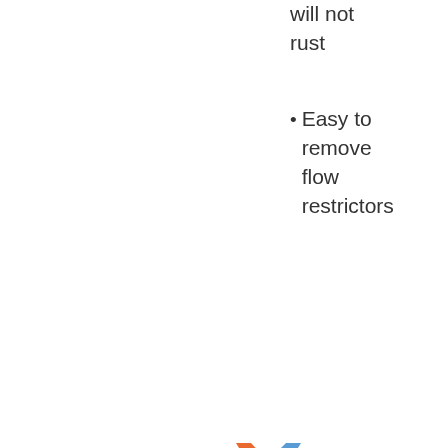will not rust
Easy to remove flow restrictors
AquaDance Premium
[Figure (illustration): Bronze (#3) medal icon with orange and blue ribbon]
[Figure (illustration): Star ratings: 3 stars, 2 stars, 5 stars]
[Figure (photo): Shower head with water spray illustration]
Resistant to lime buildup
Multiple design styles available
Overhead...